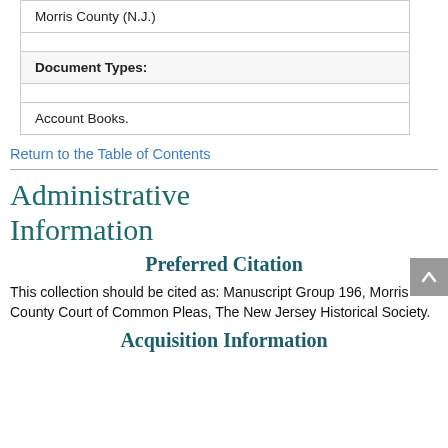| Morris County (N.J.) |
|  |
| Document Types: |
|  |
| Account Books. |
Return to the Table of Contents
Administrative Information
Preferred Citation
This collection should be cited as: Manuscript Group 196, Morris County Court of Common Pleas, The New Jersey Historical Society.
Acquisition Information